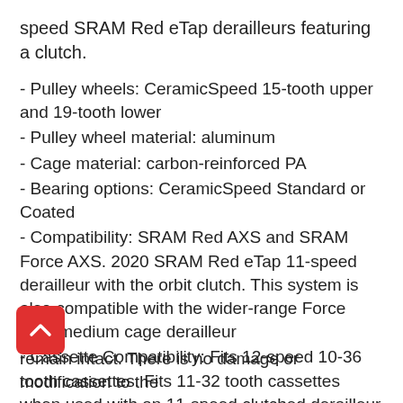speed SRAM Red eTap derailleurs featuring a clutch.
- Pulley wheels: CeramicSpeed 15-tooth upper and 19-tooth lower
- Pulley wheel material: aluminum
- Cage material: carbon-reinforced PA
- Bearing options: CeramicSpeed Standard or Coated
- Compatibility: SRAM Red AXS and SRAM Force AXS. 2020 SRAM Red eTap 11-speed derailleur with the orbit clutch. This system is also compatible with the wider-range Force AXS medium cage derailleur
- Cassette Compatibility: Fits 12-speed 10-36 tooth cassettes. Fits 11-32 tooth cassettes when used with an 11-speed clutched derailleur
- Spring Tension Settings: 2-spring
- Speeds: 12-speed
- Discipline: Road and Gravel/Cross
Custom tool included for removal of stock cage and seating of OSPW. The factory clutch mechanism will remain intact. There is no damage or modification to the